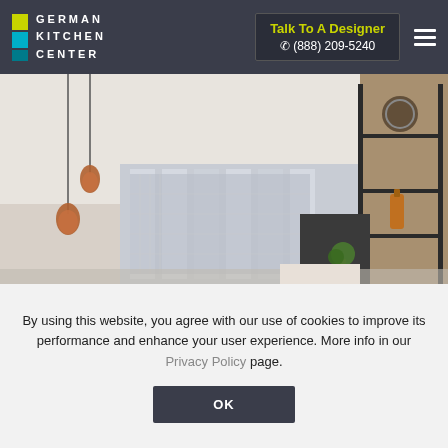German Kitchen Center | Talk To A Designer | (888) 209-5240
[Figure (photo): Interior of a modern kitchen showroom with pendant lights, open shelving with decorative items, dark cabinetry, and large windows with a city view]
By using this website, you agree with our use of cookies to improve its performance and enhance your user experience. More info in our Privacy Policy page.
OK